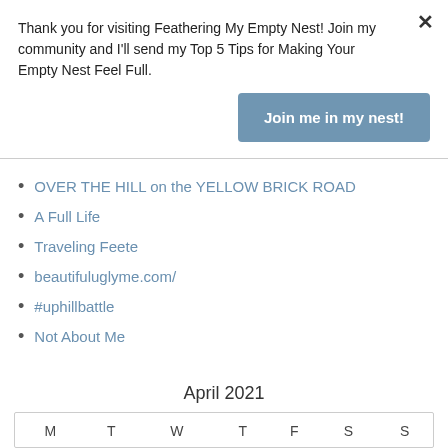Thank you for visiting Feathering My Empty Nest! Join my community and I'll send my Top 5 Tips for Making Your Empty Nest Feel Full.
Join me in my nest!
OVER THE HILL on the YELLOW BRICK ROAD
A Full Life
Traveling Feete
beautifuluglyme.com/
#uphillbattle
Not About Me
April 2021
| M | T | W | T | F | S | S |
| --- | --- | --- | --- | --- | --- | --- |